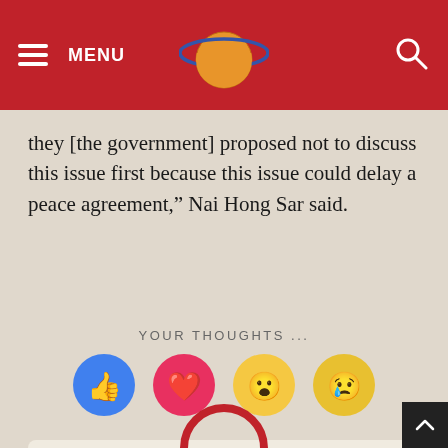MENU | The Irrawaddy logo | Search
they [the government] proposed not to discuss this issue first because this issue could delay a peace agreement,” Nai Hong Sar said.
YOUR THOUGHTS ...
[Figure (infographic): Four reaction emoji buttons: thumbs up (blue), heart (red/pink), wow face (yellow), crying face (yellow)]
[Figure (infographic): Author card with circular photo of Lawi Weng, name Lawi Weng in bold, outlet The Irrawaddy]